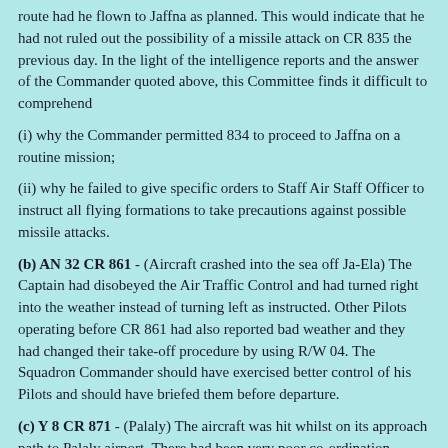route had he flown to Jaffna as planned. This would indicate that he had not ruled out the possibility of a missile attack on CR 835 the previous day. In the light of the intelligence reports and the answer of the Commander quoted above, this Committee finds it difficult to comprehend
(i) why the Commander permitted 834 to proceed to Jaffna on a routine mission;
(ii) why he failed to give specific orders to Staff Air Staff Officer to instruct all flying formations to take precautions against possible missile attacks.
(b) AN 32 CR 861 - (Aircraft crashed into the sea off Ja-Ela) The Captain had disobeyed the Air Traffic Control and had turned right into the weather instead of turning left as instructed. Other Pilots operating before CR 861 had also reported bad weather and they had changed their take-off procedure by using R/W 04. The Squadron Commander should have exercised better control of his Pilots and should have briefed them before departure.
(c) Y 8 CR 871 - (Palaly) The aircraft was hit whilst on its approach path to Palaly airport. There had been very poor co-ordination between the Air Force and Navy. Standing Orders given regarding the position/patrolling of the approach path by the Navy had not been followed.